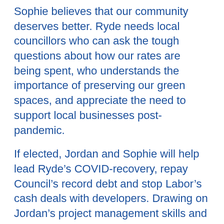Sophie believes that our community deserves better. Ryde needs local councillors who can ask the tough questions about how our rates are being spent, who understands the importance of preserving our green spaces, and appreciate the need to support local businesses post-pandemic.
If elected, Jordan and Sophie will help lead Ryde’s COVID-recovery, repay Council’s record debt and stop Labor’s cash deals with developers. Drawing on Jordan’s project management skills and Sophie’s financial expertise, they will work constructively with the NSW and Federal Government to secure Ryde’s future.
Both Jordan and Sophie hold full-time jobs in the